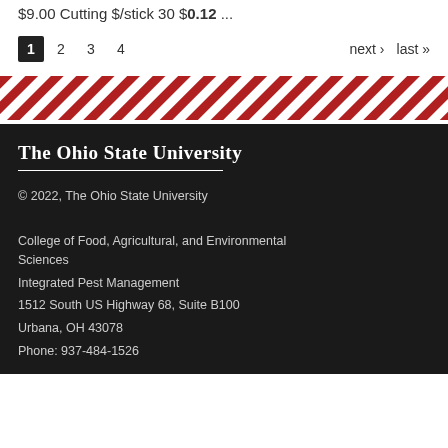$9.00 Cutting $/stick 30 $0.12 ...
1 2 3 4   next › last »
[Figure (illustration): Red and white diagonal stripe pattern divider]
The Ohio State University
© 2022, The Ohio State University
College of Food, Agricultural, and Environmental Sciences
Integrated Pest Management
1512 South US Highway 68, Suite B100
Urbana, OH 43078
Phone: 937-484-1526